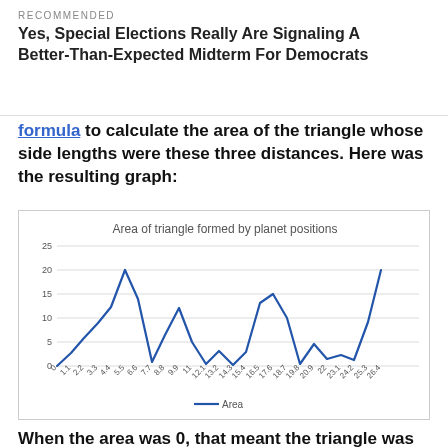RECOMMENDED
Yes, Special Elections Really Are Signaling A Better-Than-Expected Midterm For Democrats
formula to calculate the area of the triangle whose side lengths were these three distances. Here was the resulting graph:
[Figure (continuous-plot): A line chart showing the area of a triangle formed by planet positions over time. The line starts near 0, rises to about 20 at x≈5.5, dips to about 1 at x≈7.7, rises to about 12 at x≈9.9, dips near 0 at x≈12.1, rises slightly to about 3 at x≈13.2, dips near 0 at x≈14.3, rises to about 13 at x≈16.5-17, dips near 0 at x≈19.8, rises slightly to about 4.5 at x≈20.9, dips to about 2 at x≈23.1, then rises steeply to about 20 at x≈26.4.]
When the area was 0, that meant the triangle was